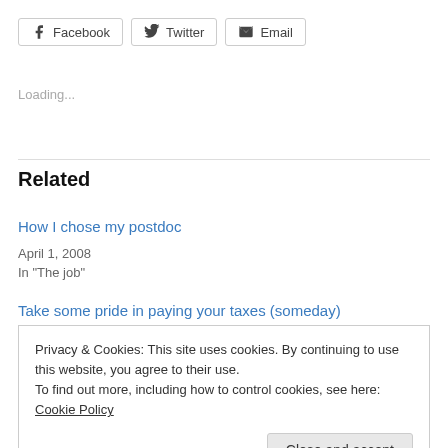[Figure (other): Social share buttons: Facebook, Twitter, Email]
Loading...
Related
How I chose my postdoc
April 1, 2008
In "The job"
Take some pride in paying your taxes (someday)
Privacy & Cookies: This site uses cookies. By continuing to use this website, you agree to their use.
To find out more, including how to control cookies, see here: Cookie Policy
Close and accept